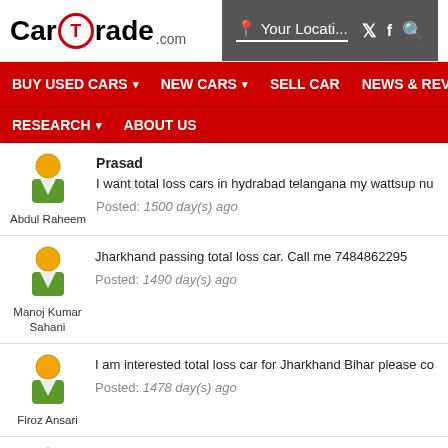CarTrade.com
Your Locati...
BUY USED CARS  NEW CARS  SELL CAR  NEWS & REVIEWS  RESEARCH  ABOUT US
Prasad
I want total loss cars in hydrabad telangana my wattsup nu
Posted: 1500 day(s) ago
Abdul Raheem
Jharkhand passing total loss car. Call me 7484862295
Posted: 1490 day(s) ago
Manoj Kumar Sahani
I am interested total loss car for Jharkhand Bihar please co
Posted: 1478 day(s) ago
Firoz Ansari
I am car trade agent jitendra karnataka if any salvage car w number 9773434535